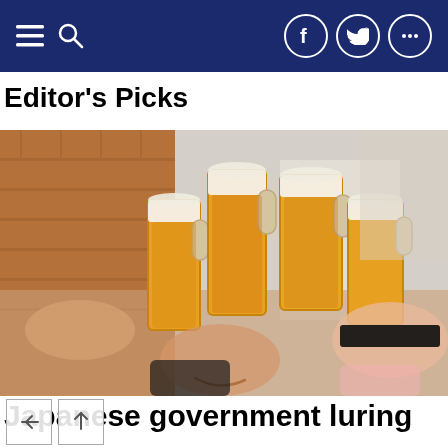Navigation bar with menu, search, Facebook, Twitter, and more icons
Editor's Picks
[Figure (photo): People clinking large beer mugs together in a toast, smiling; one person on the right has eyes obscured with a black bar. Brick wall background.]
Japanese government luring